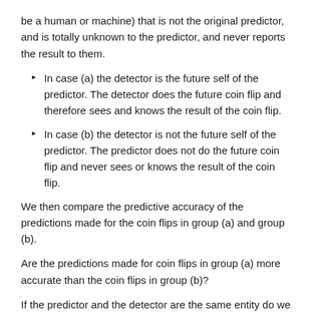be a human or machine) that is not the original predictor, and is totally unknown to the predictor, and never reports the result to them.
In case (a) the detector is the future self of the predictor. The detector does the future coin flip and therefore sees and knows the result of the coin flip.
In case (b) the detector is not the future self of the predictor. The predictor does not do the future coin flip and never sees or knows the result of the coin flip.
We then compare the predictive accuracy of the predictions made for the coin flips in group (a) and group (b).
Are the predictions made for coin flips in group (a) more accurate than the coin flips in group (b)?
If the predictor and the detector are the same entity do we see different results than if they are not?
To test Hypothesis 2: